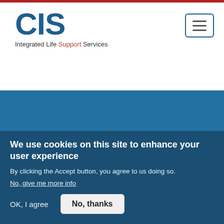[Figure (logo): CIS Integrated Life Support Services logo in blue at top left of header]
[Figure (other): Hamburger menu button with three horizontal lines, bordered in blue, top right of header]
[Figure (logo): CIS Integrated Life Support Services logo in white centered on blue background]
Find
We use cookies on this site to enhance your user experience
By clicking the Accept button, you agree to us doing so.
No, give me more info
OK, I agree
No, thanks